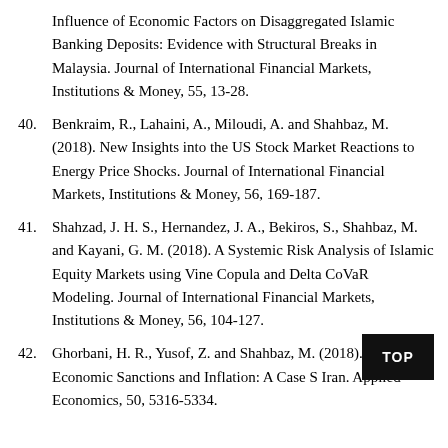Influence of Economic Factors on Disaggregated Islamic Banking Deposits: Evidence with Structural Breaks in Malaysia. Journal of International Financial Markets, Institutions & Money, 55, 13-28.
40. Benkraim, R., Lahaini, A., Miloudi, A. and Shahbaz, M. (2018). New Insights into the US Stock Market Reactions to Energy Price Shocks. Journal of International Financial Markets, Institutions & Money, 56, 169-187.
41. Shahzad, J. H. S., Hernandez, J. A., Bekiros, S., Shahbaz, M. and Kayani, G. M. (2018). A Systemic Risk Analysis of Islamic Equity Markets using Vine Copula and Delta CoVaR Modeling. Journal of International Financial Markets, Institutions & Money, 56, 104-127.
42. Ghorbani, H. R., Yusof, Z. and Shahbaz, M. (2018). [Relationship] between Economic Sanctions and Inflation: A Case S[tudy of] Iran. Applied Economics, 50, 5316-5334.